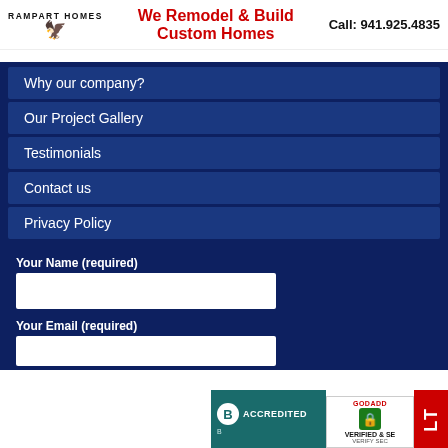RAMPART HOMES | We Remodel & Build Custom Homes | Call: 941.925.4835
Why our company?
Our Project Gallery
Testimonials
Contact us
Privacy Policy
Your Name (required)
Your Email (required)